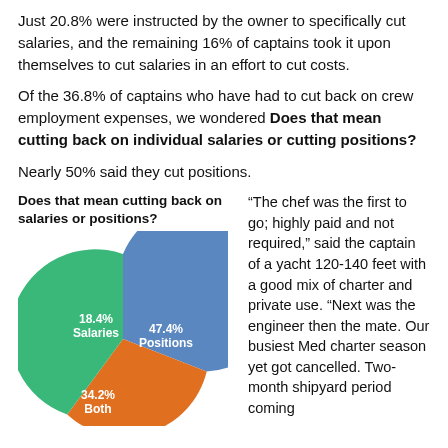Just 20.8% were instructed by the owner to specifically cut salaries, and the remaining 16% of captains took it upon themselves to cut salaries in an effort to cut costs.
Of the 36.8% of captains who have had to cut back on crew employment expenses, we wondered Does that mean cutting back on individual salaries or cutting positions?
Nearly 50% said they cut positions.
[Figure (pie-chart): Does that mean cutting back on salaries or positions?]
“The chef was the first to go; highly paid and not required,” said the captain of a yacht 120-140 feet with a good mix of charter and private use. “Next was the engineer then the mate. Our busiest Med charter season yet got cancelled. Two-month shipyard period coming...